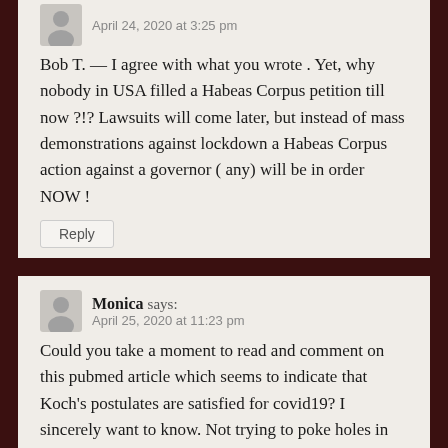April 24, 2020 at 3:25 pm
Bob T. — I agree with what you wrote . Yet, why nobody in USA filled a Habeas Corpus petition till now ?!? Lawsuits will come later, but instead of mass demonstrations against lockdown a Habeas Corpus action against a governor ( any) will be in order NOW !
Reply
Monica says:
April 25, 2020 at 11:23 pm
Could you take a moment to read and comment on this pubmed article which seems to indicate that Koch's postulates are satisfied for covid19? I sincerely want to know. Not trying to poke holes in your theory. I want to go to a primary source, but feel that